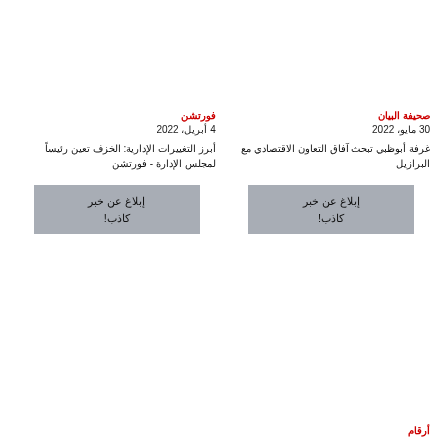صحيفة البيان
30 مايو، 2022
غرفة أبوظبي تبحث آفاق التعاون الاقتصادي مع البرازيل
[Figure (other): إبلاغ عن خبر كاذب button]
فورتشن
4 أبريل، 2022
أبرز التغييرات الإدارية: الخزف تعين رئيساً لمجلس الإدارة - فورتشن
[Figure (other): إبلاغ عن خبر كاذب button]
أرقام